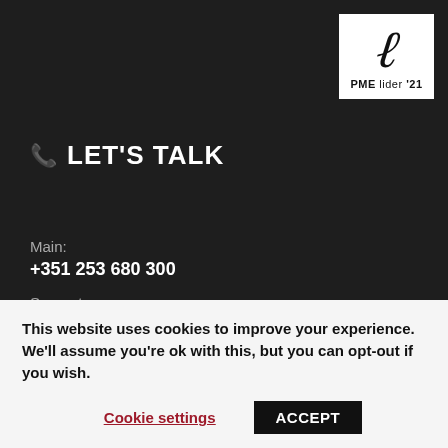[Figure (logo): PME lider '21 logo — white square background with a large italic slash/L mark and text 'PME lider 21' below]
LET'S TALK
Main:
+351 253 680 300
Support:
This website uses cookies to improve your experience. We'll assume you're ok with this, but you can opt-out if you wish.
Cookie settings
ACCEPT